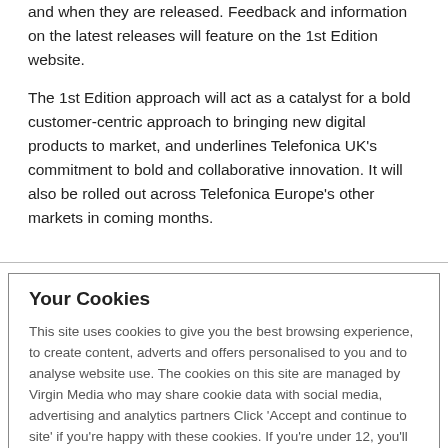and when they are released. Feedback and information on the latest releases will feature on the 1st Edition website.
The 1st Edition approach will act as a catalyst for a bold customer-centric approach to bringing new digital products to market, and underlines Telefonica UK's commitment to bold and collaborative innovation. It will also be rolled out across Telefonica Europe's other markets in coming months.
Your Cookies
This site uses cookies to give you the best browsing experience, to create content, adverts and offers personalised to you and to analyse website use. The cookies on this site are managed by Virgin Media who may share cookie data with social media, advertising and analytics partners Click 'Accept and continue to site' if you're happy with these cookies. If you're under 12, you'll need a parent or guardian to provide consent to continue. Click 'Manage cookie preferences' to customise your cookie settings. For